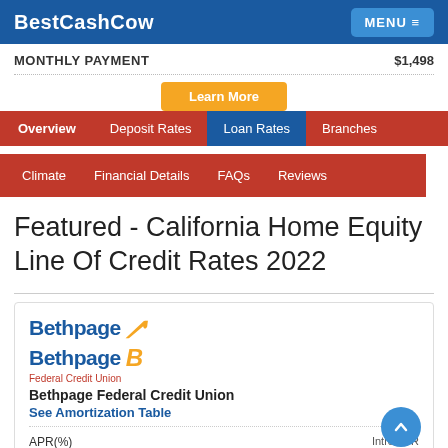BestCashCow  MENU
| MONTHLY PAYMENT | $1,498 |
| --- | --- |
Learn More
Overview  Deposit Rates  Loan Rates  Branches
Climate  Financial Details  FAQs  Reviews
Featured - California Home Equity Line Of Credit Rates 2022
Bethpage Federal Credit Union
See Amortization Table
APR(%)
Intro APR